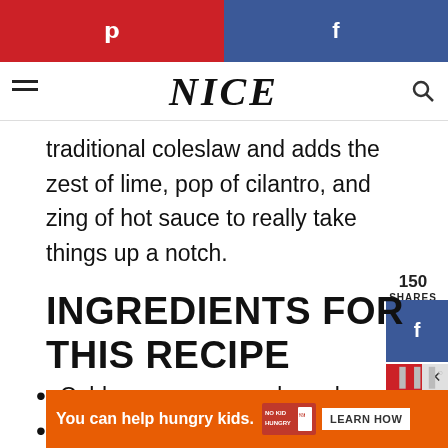[Figure (screenshot): Top navigation bar with Pinterest (red) and Facebook (blue) social share buttons]
NICE
traditional coleslaw and adds the zest of lime, pop of cilantro, and zing of hot sauce to really take things up a notch.
150 SHARES
INGREDIENTS FOR THIS RECIPE
[Figure (infographic): Social share sidebar with Facebook, Pinterest, and heart/save buttons, showing 155 count]
Cabbage – green and purple
Carrot
[Figure (screenshot): Ad banner: 'You can help hungry kids.' No Kid Hungry with LEARN HOW button]